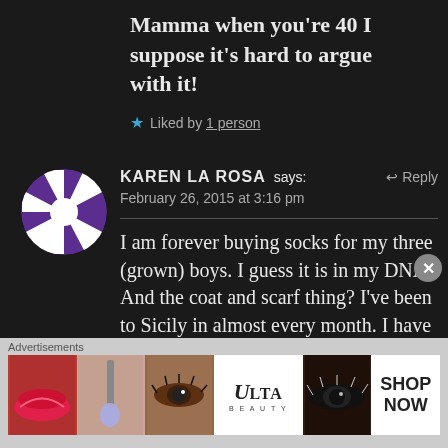Mamma when you’re 40 I suppose it’s hard to argue with it!
★ Liked by 1 person
[Figure (illustration): Circular avatar with purple and white geometric star/pinwheel pattern on dark background]
KAREN LA ROSA says: ← Reply
February 26, 2015 at 3:16 pm
I am forever buying socks for my three (grown) boys. I guess it is in my DNA? And the coat and scarf thing? I’ve been to Sicily in almost every month. I have never felt like I
Advertisements
[Figure (photo): Ulta beauty advertisement banner with makeup images including lips, brush, eyes, and ULTA logo with SHOP NOW text]